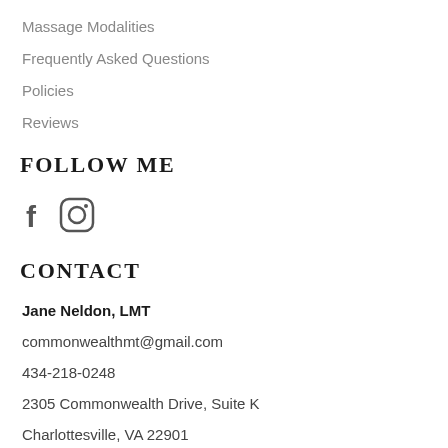Massage Modalities
Frequently Asked Questions
Policies
Reviews
FOLLOW ME
[Figure (illustration): Social media icons: Facebook (f) and Instagram (camera icon)]
CONTACT
Jane Neldon, LMT
commonwealthmt@gmail.com
434-218-0248
2305 Commonwealth Drive, Suite K
Charlottesville, VA 22901